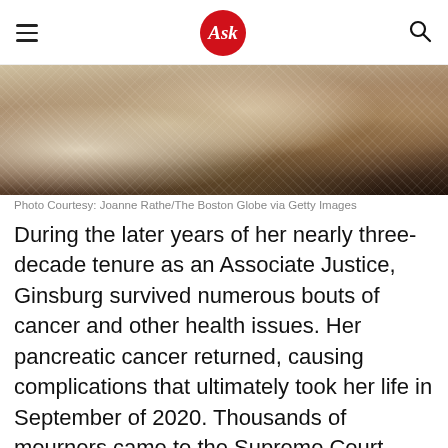Ask
[Figure (photo): Close-up photo of a person's hands wearing lace/knit gloves, with decorative objects in the background]
Photo Courtesy: Joanne Rathe/The Boston Globe via Getty Images
During the later years of her nearly three-decade tenure as an Associate Justice, Ginsburg survived numerous bouts of cancer and other health issues. Her pancreatic cancer returned, causing complications that ultimately took her life in September of 2020. Thousands of mourners came to the Supreme Court building, and later the U.S. Capitol, to pay their respects — but millions of Americans owe many of their freedoms to this peerless world